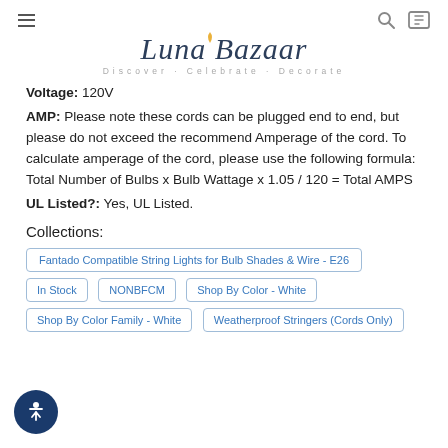Luna Bazaar — Discover · Celebrate · Decorate
Voltage: 120V
AMP: Please note these cords can be plugged end to end, but please do not exceed the recommend Amperage of the cord. To calculate amperage of the cord, please use the following formula: Total Number of Bulbs x Bulb Wattage x 1.05 / 120 = Total AMPS
UL Listed?: Yes, UL Listed.
Collections:
Fantado Compatible String Lights for Bulb Shades & Wire - E26
In Stock
NONBFCM
Shop By Color - White
Shop By Color Family - White
Weatherproof Stringers (Cords Only)